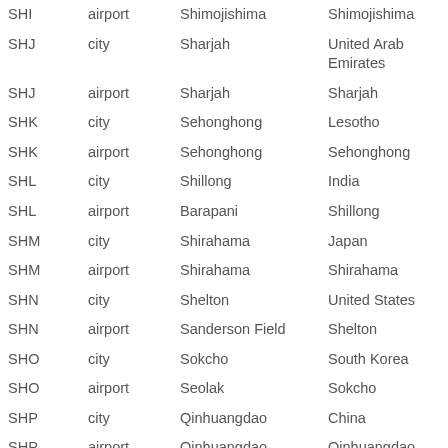| Code | Type | Name | Location |
| --- | --- | --- | --- |
| SHI | airport | Shimojishima | Shimojishima |
| SHJ | city | Sharjah | United Arab Emirates |
| SHJ | airport | Sharjah | Sharjah |
| SHK | city | Sehonghong | Lesotho |
| SHK | airport | Sehonghong | Sehonghong |
| SHL | city | Shillong | India |
| SHL | airport | Barapani | Shillong |
| SHM | city | Shirahama | Japan |
| SHM | airport | Shirahama | Shirahama |
| SHN | city | Shelton | United States |
| SHN | airport | Sanderson Field | Shelton |
| SHO | city | Sokcho | South Korea |
| SHO | airport | Seolak | Sokcho |
| SHP | city | Qinhuangdao | China |
| SHP | airport | Qinhuangdao | Qinhuangdao |